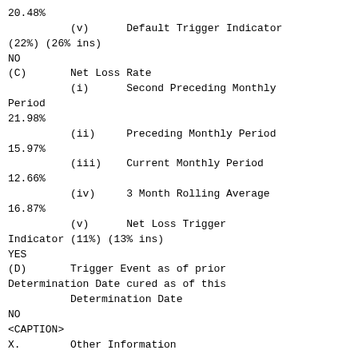20.48%
(v)      Default Trigger Indicator
(22%) (26% ins)
NO
(C)       Net Loss Rate
(i)      Second Preceding Monthly
Period
21.98%
(ii)     Preceding Monthly Period
15.97%
(iii)    Current Monthly Period
12.66%
(iv)     3 Month Rolling Average
16.87%
(v)      Net Loss Trigger
Indicator (11%) (13% ins)
YES
(D)       Trigger Event as of prior
Determination Date cured as of this
          Determination Date
NO
<CAPTION>
X.        Other Information
- ----------------------------------------
- ----------------------------------------